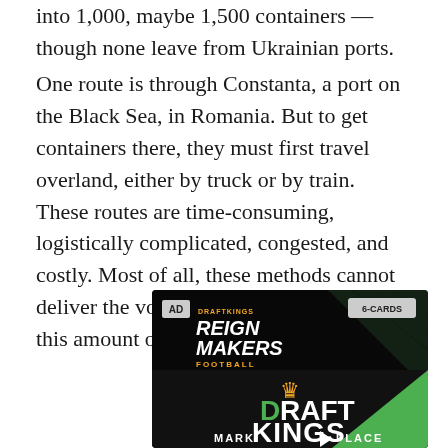into 1,000, maybe 1,500 containers — though none leave from Ukrainian ports.
One route is through Constanta, a port on the Black Sea, in Romania. But to get containers there, they must first travel overland, either by truck or by train. These routes are time-consuming, logistically complicated, congested, and costly. Most of all, these methods cannot deliver the volumes necessary to move this amount of grain.
[Figure (screenshot): Advertisement for DraftKings Reign Makers Football showing the DraftKings Marketplace logo with a crown icon, green gradient background elements, AD badge, and 6-CARDS badge. Dark themed video ad frame.]